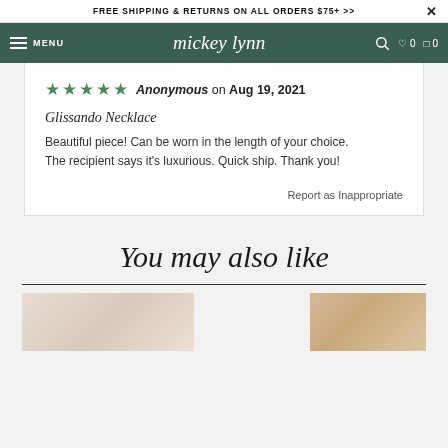FREE SHIPPING & RETURNS ON ALL ORDERS $75+ >>
mickey lynn — MENU — search — wishlist 0 — cart 0
Anonymous on Aug 19, 2021
Glissando Necklace
Beautiful piece! Can be worn in the length of your choice. The recipient says it's luxurious. Quick ship. Thank you!
Report as Inappropriate
You may also like
[Figure (photo): Two product thumbnail images at the bottom of the page showing jewelry items]